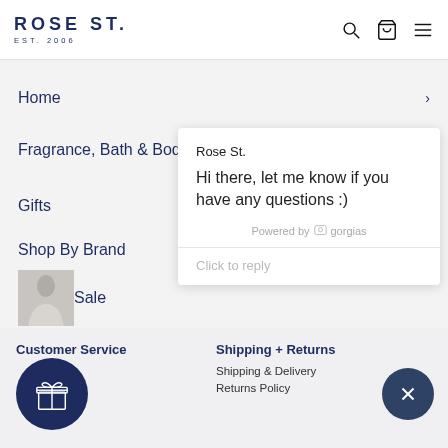ROSE ST. EST. 2006
Home
Fragrance, Bath & Body
Gifts
Shop By Brand
Sale
Rose St.
Hi there, let me know if you have any questions :)
Powered by gorgias
Click to reply
Customer Service
Shipping + Returns
Shipping & Delivery
Returns Policy